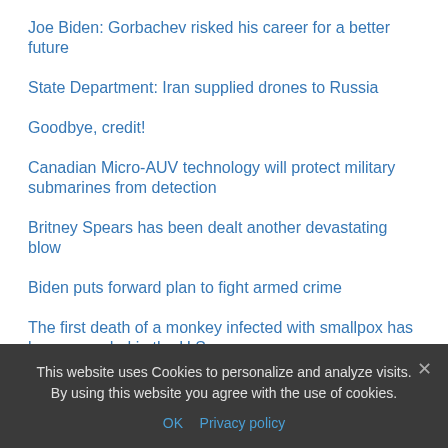Joe Biden: Gorbachev risked his career for a better future
State Department: Iran supplied drones to Russia
Goodbye, credit!
Canadian Micro-AUV technology will protect military submarines from detection
Britney Spears has been dealt another devastating blow
Biden puts forward plan to fight armed crime
The first death of a monkey infected with smallpox has been recorded in the U.S.
In California, a program to switch to electric cars was adopted
Biden congratulated Americans on the 59th anniversary of the
This website uses Cookies to personalize and analyze visits. By using this website you agree with the use of cookies.
OK   Privacy policy